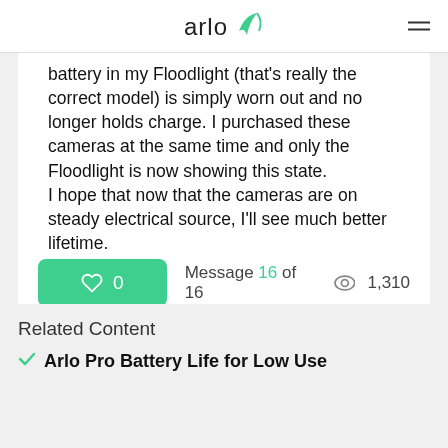arlo
battery in my Floodlight (that's really the correct model) is simply worn out and no longer holds charge. I purchased these cameras at the same time and only the Floodlight is now showing this state.
I hope that now that the cameras are on steady electrical source, I'll see much better lifetime.
Message 16 of 16  1,310
Related Content
Arlo Pro Battery Life for Low Use